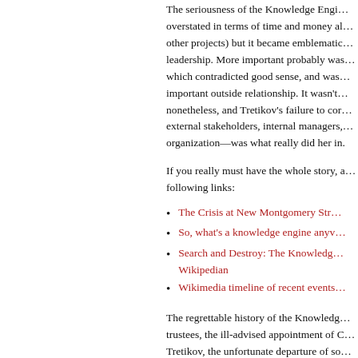The seriousness of the Knowledge Engine project has been overstated in terms of time and money allocated (compared to other projects) but it became emblematic of failures in leadership. More important probably was the decision itself, which contradicted good sense, and was destructive of an important outside relationship. It wasn't a fatal decision, nonetheless, and Tretikov's failure to communicate with external stakeholders, internal managers, and her own organization—was what really did her in.
If you really must have the whole story, as told through the following links:
The Crisis at New Montgomery Str...
So, what's a knowledge engine anyv...
Search and Destroy: The Knowledge... Wikipedian
Wikimedia timeline of recent events...
The regrettable history of the Knowledge... trustees, the ill-advised appointment of C... Tretikov, the unfortunate departure of so...